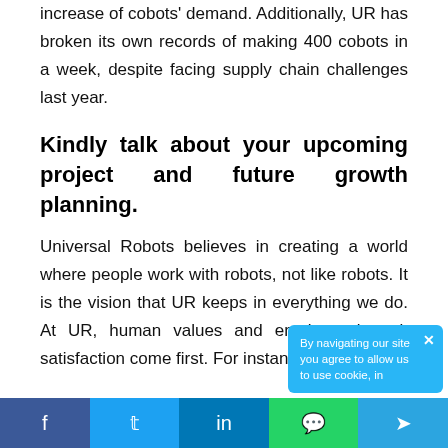increase of cobots' demand. Additionally, UR has broken its own records of making 400 cobots in a week, despite facing supply chain challenges last year.
Kindly talk about your upcoming project and future growth planning.
Universal Robots believes in creating a world where people work with robots, not like robots. It is the vision that UR keeps in everything we do. At UR, human values and employees' work satisfaction come first. For instance,